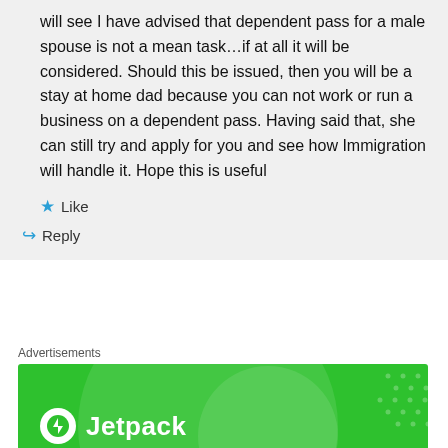will see I have advised that dependent pass for a male spouse is not a mean task…if at all it will be considered. Should this be issued, then you will be a stay at home dad because you can not work or run a business on a dependent pass. Having said that, she can still try and apply for you and see how Immigration will handle it. Hope this is useful
★ Like
↳ Reply
Advertisements
[Figure (logo): Jetpack advertisement banner with green background, Jetpack logo and name in white]